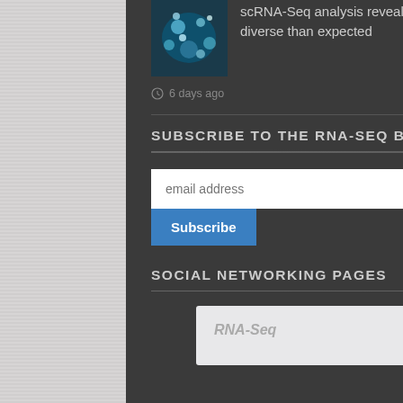scRNA-Seq analysis reveals that the cells regulating blood stem cell maintenance are more diverse than expected
6 days ago
SUBSCRIBE TO THE RNA-SEQ BLOG
[Figure (screenshot): Email address input field with Subscribe button]
SOCIAL NETWORKING PAGES
[Figure (screenshot): Social card with RNA-Seq label on light grey background]